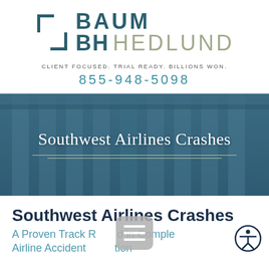[Figure (logo): Baum Hedlund law firm logo with bracket icon and text BAUM HEDLUND]
CLIENT FOCUSED. TRIAL READY. BILLIONS WON.
855-948-5098
[Figure (photo): Background photo of classical courthouse columns with teal/blue overlay, showing 'Southwest Airlines Crashes' as hero text with decorative divider lines]
Southwest Airlines Crashes
A Proven Track Record in Complex Airline Accident Litigation